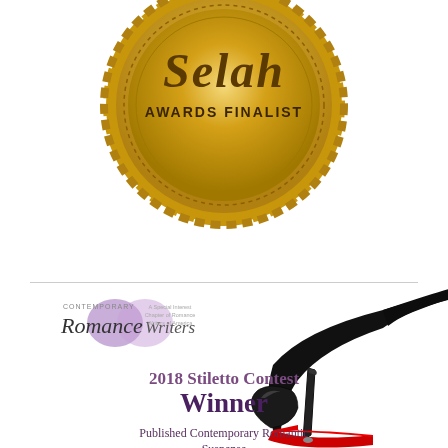[Figure (logo): Selah Awards Finalist gold medal/badge with scalloped edge and text 'Selah Awards Finalist']
[Figure (logo): Contemporary Romance Writers logo with purple watercolor heart and script text 'Romance Writers']
[Figure (illustration): Black and red stiletto high heel shoe illustration]
2018 Stiletto Contest Winner
Published Contemporary Romantic Suspense